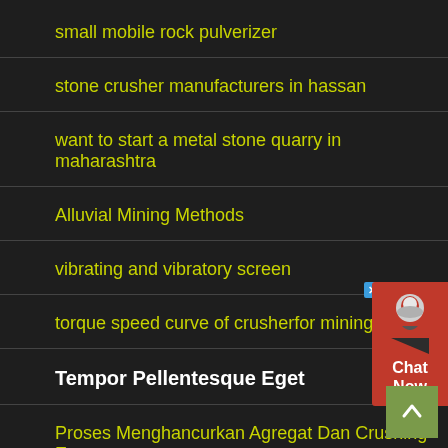small mobile rock pulverizer
stone crusher manufacturers in hassan
want to start a metal stone quarry in maharashtra
Alluvial Mining Methods
vibrating and vibratory screen
torque speed curve of crusherfor mining
Tempor Pellentesque Eget
Proses Menghancurkan Agregat Dan Crushing Emas